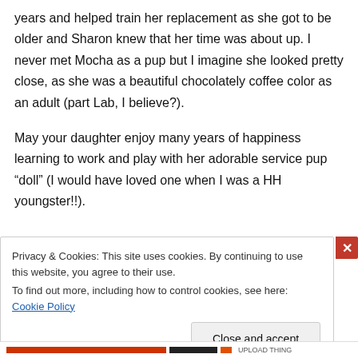years and helped train her replacement as she got to be older and Sharon knew that her time was about up. I never met Mocha as a pup but I imagine she looked pretty close, as she was a beautiful chocolately coffee color as an adult (part Lab, I believe?).

May your daughter enjoy many years of happiness learning to work and play with her adorable service pup “doll” (I would have loved one when I was a HH youngster!!).
Privacy & Cookies: This site uses cookies. By continuing to use this website, you agree to their use.
To find out more, including how to control cookies, see here: Cookie Policy
UPLOAD THING